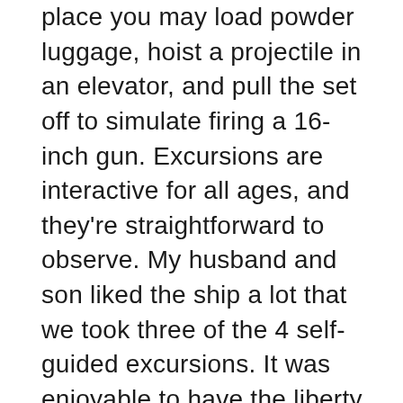place you may load powder luggage, hoist a projectile in an elevator, and pull the set off to simulate firing a 16-inch gun. Excursions are interactive for all ages, and they're straightforward to observe. My husband and son liked the ship a lot that we took three of the 4 self-guided excursions. It was enjoyable to have the liberty to discover the ship independently, and it was thrilling to see a brand new shock round each nook.